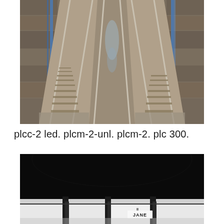[Figure (photo): Aerial view looking down a set of railroad tracks with multiple parallel rails between concrete and stone walls, with blue railings visible on both sides. Water reflection visible between the tracks.]
plcc-2 led. plcm-2-unl. plcm-2. plc 300.
[Figure (photo): Black and white photo of a subway station platform. Dark upper portion with illuminated white panels at bottom. A sign reading 'JANE' is visible in the center.]